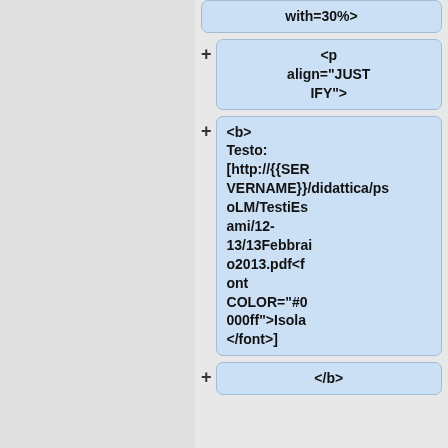with=30%>
<p align="JUSTIFY">
<b>
Testo: [http://{{SERVERNAME}}/didattica/psoLM/TestiEsami/12-13/13Febbraio2013.pdf<font COLOR="#0000ff">Isola</font>]
</b>